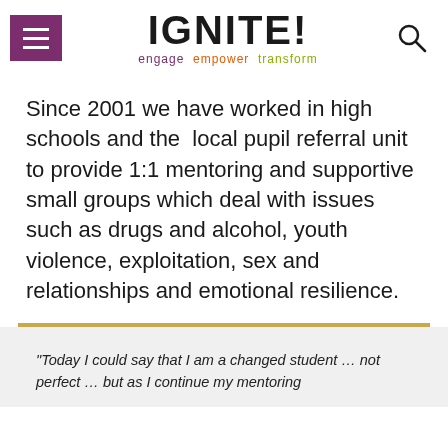IGNITE! engage empower transform
Since 2001 we have worked in high schools and the local pupil referral unit to provide 1:1 mentoring and supportive small groups which deal with issues such as drugs and alcohol, youth violence, exploitation, sex and relationships and emotional resilience.
“Today I could say that I am a changed student … not perfect … but as I continue my mentoring